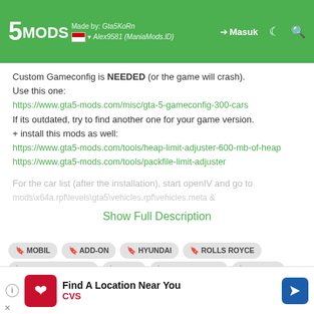5MODS | Made by: Gta5KoRn | Uploaded by: Alex9581 (ManiaMods.lD) | Masuk
Custom Gameconfig is NEEDED (or the game will crash).
Use this one:
https://www.gta5-mods.com/misc/gta-5-gameconfig-300-cars
If its outdated, try to find another one for your game version.
+ install this mods as well:
https://www.gta5-mods.com/tools/heap-limit-adjuster-600-mb-of-heap
https://www.gta5-mods.com/tools/packfile-limit-adjuster
For the car list (after the installation), start openIV and go to
Show Full Description
MOBIL
ADD-ON
HYUNDAI
ROLLS ROYCE
MERCEDES-BENZ
BMW
LAMBORGHINI
NISSAN
CHEVROLET
VOLKSWAGEN
HONDA
HUMMER
SUV
TRUCK
[Figure (screenshot): CVS pharmacy advertisement banner: Find A Location Near You]